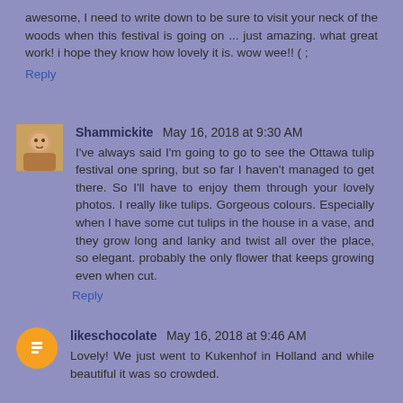awesome, I need to write down to be sure to visit your neck of the woods when this festival is going on ... just amazing. what great work! i hope they know how lovely it is. wow wee!! ( ;
Reply
Shammickite  May 16, 2018 at 9:30 AM
I've always said I'm going to go to see the Ottawa tulip festival one spring, but so far I haven't managed to get there. So I'll have to enjoy them through your lovely photos. I really like tulips. Gorgeous colours. Especially when I have some cut tulips in the house in a vase, and they grow long and lanky and twist all over the place, so elegant. probably the only flower that keeps growing even when cut.
Reply
likeschocolate  May 16, 2018 at 9:46 AM
Lovely! We just went to Kukenhof in Holland and while beautiful it was so crowded.